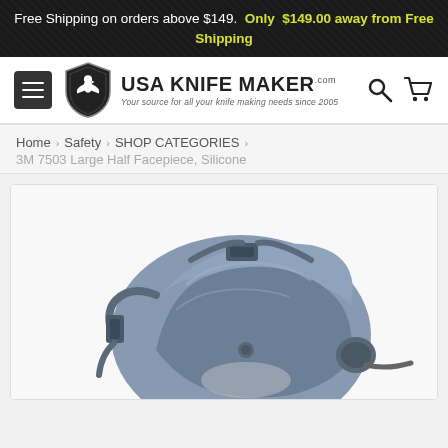Free Shipping on orders above $149.  Only  $149.00 away from Free Shipping
[Figure (logo): USA Knife Maker logo with shield icon and tagline]
Home > Safety > SHOP CATEGORIES > 3M 7503 Large Half Facepiece, Silicone
[Figure (photo): 3M 7503 Large Half Facepiece Silicone respirator mask in blue/grey color]